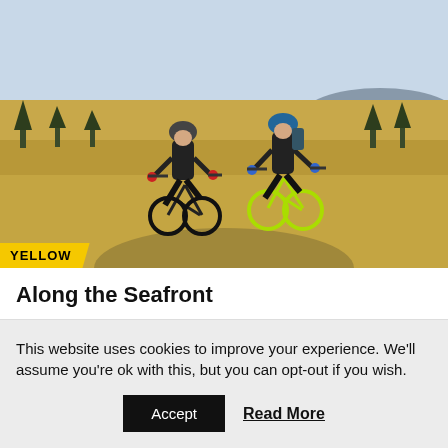[Figure (photo): Two mountain bikers riding toward the camera on a trail through moorland with sparse trees and golden grass. Both wear helmets and dark clothing. A yellow badge reading 'YELLOW' is overlaid at the bottom left of the image.]
Along the Seafront
This website uses cookies to improve your experience. We'll assume you're ok with this, but you can opt-out if you wish.